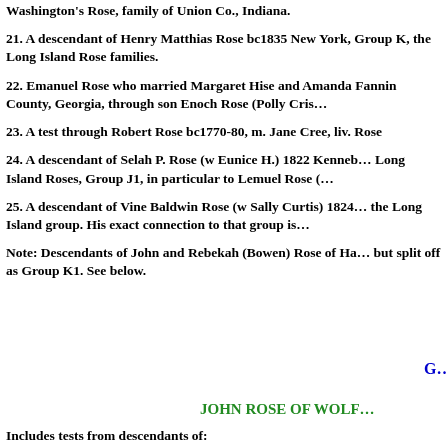Washington's Rose, family of Union Co., Indiana.
21. A descendant of Henry Matthias Rose bc1835 New York, Group K, the Long Island Rose families.
22. Emanuel Rose who married Margaret Hise and Amanda Fannin County, Georgia, through son Enoch Rose (Polly Cris…
23. A test through Robert Rose bc1770-80, m. Jane Cree, liv. Rose
24. A descendant of Selah P. Rose (w Eunice H.) 1822 Kenneb… Long Island Roses, Group J1, in particular to Lemuel Rose (…
25. A descendant of Vine Baldwin Rose (w Sally Curtis) 1824… the Long Island group. His exact connection to that group is…
Note: Descendants of John and Rebekah (Bowen) Rose of Ha… but split off as Group K1. See below.
G…
JOHN ROSE OF WOLF…
Includes tests from descendants of: